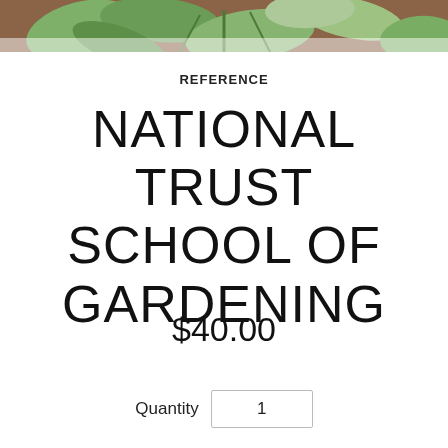[Figure (photo): Close-up photo of green plant leaves against a warm background, shown as a cropped strip at the top of the page]
REFERENCE
NATIONAL TRUST SCHOOL OF GARDENING
$40.00
Quantity  1